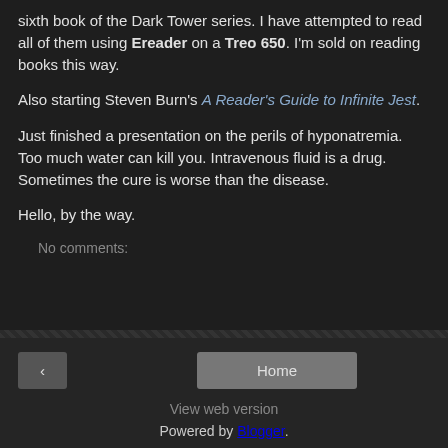sixth book of the Dark Tower series. I have attempted to read all of them using Ereader on a Treo 650. I'm sold on reading books this way.
Also starting Steven Burn's A Reader's Guide to Infinite Jest.
Just finished a presentation on the perils of hyponatremia. Too much water can kill you. Intravenous fluid is a drug. Sometimes the cure is worse than the disease.
Hello, by the way.
No comments:
< Home View web version Powered by Blogger.